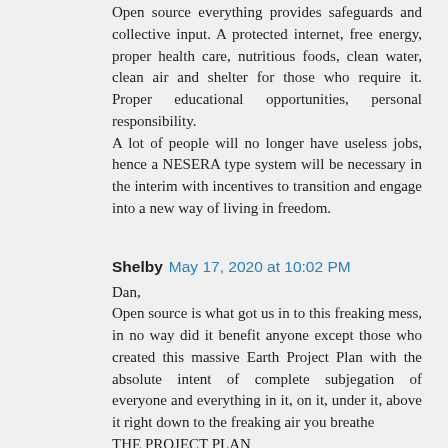Open source everything provides safeguards and collective input. A protected internet, free energy, proper health care, nutritious foods, clean water, clean air and shelter for those who require it. Proper educational opportunities, personal responsibility.
A lot of people will no longer have useless jobs, hence a NESERA type system will be necessary in the interim with incentives to transition and engage into a new way of living in freedom.
Shelby  May 17, 2020 at 10:02 PM
Dan,
Open source is what got us in to this freaking mess, in no way did it benefit anyone except those who created this massive Earth Project Plan with the absolute intent of complete subjegation of everyone and everything in it, on it, under it, above it right down to the freaking air you breathe
THE PROJECT PLAN